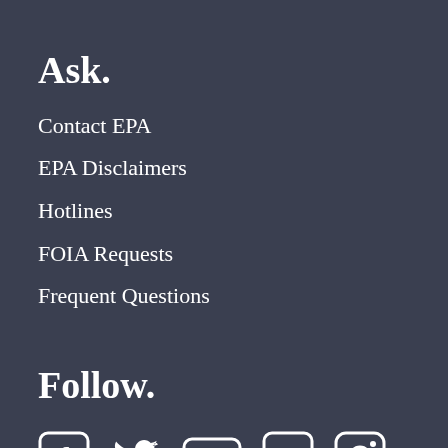Ask.
Contact EPA
EPA Disclaimers
Hotlines
FOIA Requests
Frequent Questions
Follow.
[Figure (infographic): Social media icons: Facebook, Twitter, YouTube, Flickr, Instagram]
LAST UPDATED ON MARCH 1, 2022